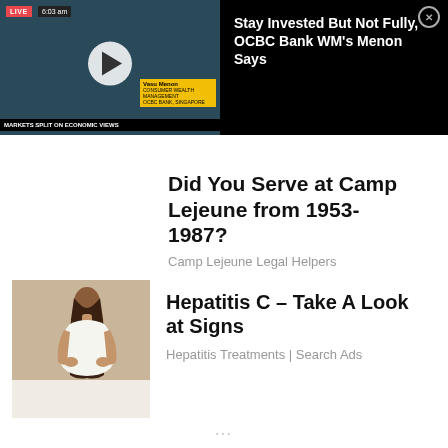[Figure (screenshot): Bloomberg TV live video thumbnail showing a news anchor. LIVE badge at top left, time 6:03 am. Lower-third name tag reads 'Vasu Menon'. Ticker bar reads 'MARKETS SPLIT ON ECONOMIC VIEWS'.]
Stay Invested But Not Fully, OCBC Bank WM's Menon Says
Did You Serve at Camp Lejeune from 1953- 1987?
Camp Lejeune Legal Helpers
[Figure (photo): Photo of a young woman with long dark hair, seen from behind, wearing a white top, hands on her lower back suggesting back pain.]
Hepatitis C – Take A Look at Signs
Hepatitis Treatments | Search Ads